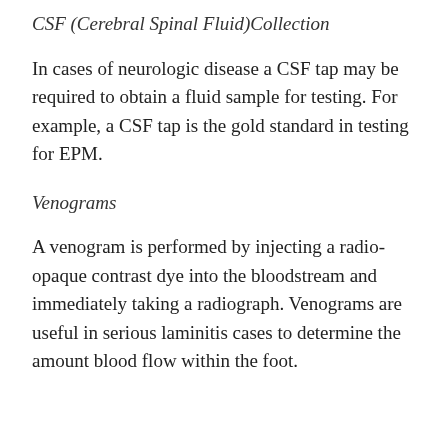CSF (Cerebral Spinal Fluid)Collection
In cases of neurologic disease a CSF tap may be required to obtain a fluid sample for testing. For example, a CSF tap is the gold standard in testing for EPM.
Venograms
A venogram is performed by injecting a radio-opaque contrast dye into the bloodstream and immediately taking a radiograph. Venograms are useful in serious laminitis cases to determine the amount blood flow within the foot.